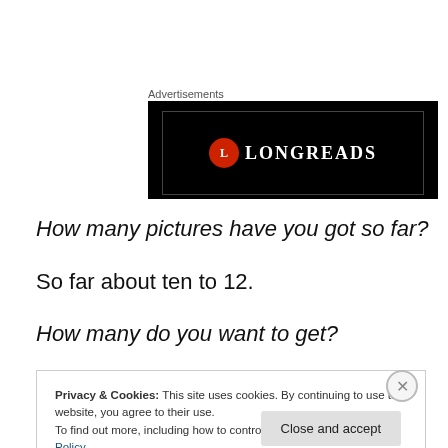Advertisements
[Figure (photo): Advertisement banner with black background showing a circular red logo and the text LONGREADS]
How many pictures have you got so far?
So far about ten to 12.
How many do you want to get?
Privacy & Cookies: This site uses cookies. By continuing to use this website, you agree to their use.
To find out more, including how to control cookies, see here: Cookie Policy